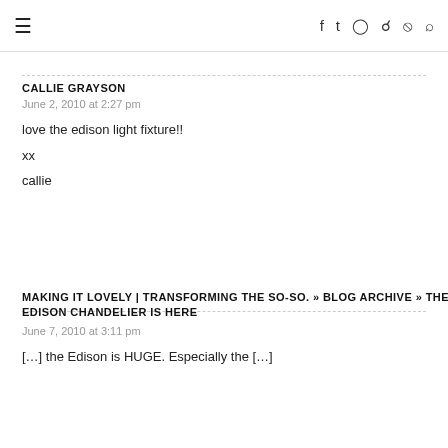≡  f  𝕥  ○  ⊕  ))) 🔍
CALLIE GRAYSON
June 2, 2010 at 2:27 pm
love the edison light fixture!!

xx

callie
MAKING IT LOVELY | TRANSFORMING THE SO-SO. » BLOG ARCHIVE » THE EDISON CHANDELIER IS HERE
June 7, 2010 at 3:11 pm
[…] the Edison is HUGE. Especially the […]